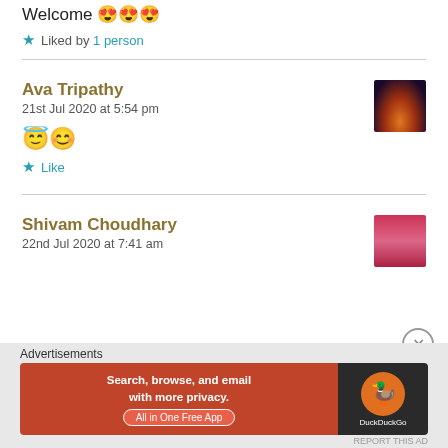Welcome 😍😍😍
★ Liked by 1 person
Ava Tripathy
21st Jul 2020 at 5:54 pm
😇😊
★ Like
Shivam Choudhary
22nd Jul 2020 at 7:41 am
[Figure (photo): Avatar photo for Ava Tripathy - dark artistic image with warm tones]
[Figure (photo): Avatar photo for Shivam Choudhary - person in pink/red clothing]
[Figure (screenshot): DuckDuckGo advertisement banner - Search, browse, and email with more privacy. All in One Free App.]